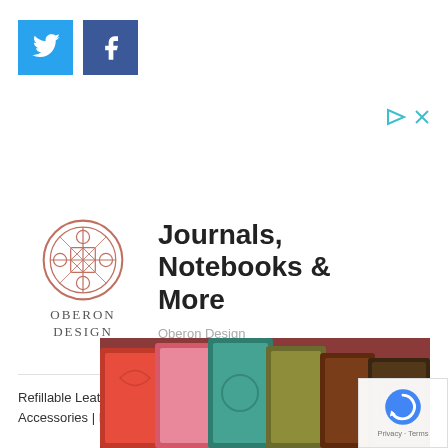[Figure (logo): Twitter bird icon on cyan/blue square background]
[Figure (logo): Facebook 'f' icon on dark blue square background]
[Figure (infographic): Ad controls: play triangle and X close button in teal/cyan color]
[Figure (logo): Oberon Design circular Celtic knot logo in rose/terracotta color with text OBERON DESIGN below]
Journals, Notebooks & More
Oberon Design
Refillable Leather Journals and Notebooks | Wallets & Accessories | Handbags & Totes
[Figure (photo): Collection of colorful embossed leather journal/notebook covers in various colors including red, pink, green, teal, and brown]
[Figure (logo): Google reCAPTCHA badge with spinning arrow logo and Privacy-Terms text]